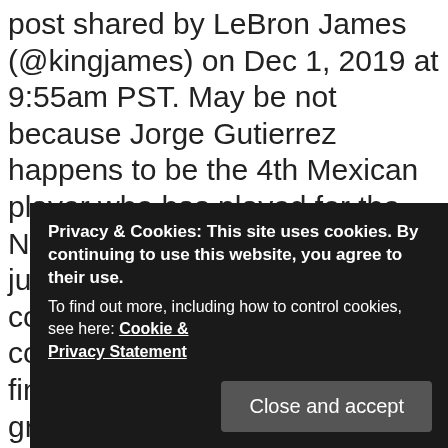post shared by LeBron James (@kingjames) on Dec 1, 2019 at 9:55am PST. May be not because Jorge Gutierrez happens to be the 4th Mexican player who has played for the NBA. Matthew sweat it all out just to prove he is worth the contract offered by Cavs. Of course, it depends on their finished roster but Chris can grab a valuable place in the team if he is able to show a lot more than his skills. In fact, they do not even think twice when signing a contract for the lowest amount of money. There are many players that are tied for the lowest salary. Curry has landed himself a five-year $201.16 million contract, which was the biggest one in NBA history at the time of its signing, and his salary is ... the minimum salary a player in the NBA is paid is around
Privacy & Cookies: This site uses cookies. By continuing to use this website, you agree to their use. To find out more, including how to control cookies, see here: Cookie & Privacy Statement
Close and accept